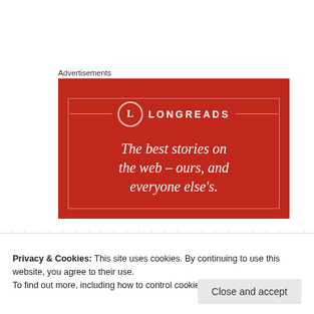Advertisements
[Figure (illustration): Longreads advertisement banner with red background. Shows the Longreads logo (circle with L) and text: The best stories on the web – ours, and everyone else's.]
Privacy & Cookies: This site uses cookies. By continuing to use this website, you agree to their use.
To find out more, including how to control cookies, see here: Cookie Policy
Close and accept